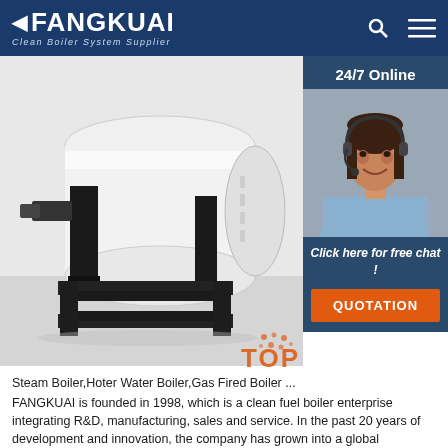FANGKUAI - Clean Boiler System Supplier
[Figure (photo): Industrial gas fired boiler unit with black metal frame/stand, white cylindrical tank body, mounted on steel base frame. Photo shown against white/grey background.]
[Figure (photo): 24/7 Online customer service agent - woman with headset smiling, shown in sidebar overlay on the right side of the page. Sidebar includes '24/7 Online' banner, agent photo, 'Click here for free chat!' text, and orange QUOTATION button.]
Steam Boiler,Hoter Water Boiler,Gas Fired Boiler ...
FANGKUAI is founded in 1998, which is a clean fuel boiler enterprise integrating R&D, manufacturing, sales and service. In the past 20 years of development and innovation, the company has grown into a global enterprise, and its products have been exported to more than 80 countries including Russia, Mongolia and Thailand and have established production and service...